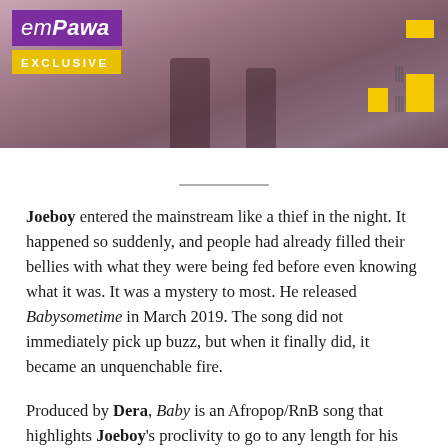[Figure (photo): emPawa Exclusive banner image showing people on a beach/sandy ground with purple logo and yellow EXCLUSIVE badge and decorative yellow blocks on the right]
Joeboy entered the mainstream like a thief in the night. It happened so suddenly, and people had already filled their bellies with what they were being fed before even knowing what it was. It was a mystery to most. He released Babysometime in March 2019. The song did not immediately pick up buzz, but when it finally did, it became an unquenchable fire.
Produced by Dera, Baby is an Afropop/RnB song that highlights Joeboy's proclivity to go to any length for his lover. It's a mid-tempo song, with a BPM (Beat Per